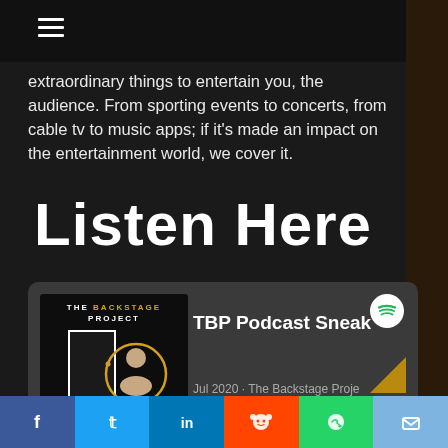[Figure (screenshot): Hamburger menu icon (three horizontal lines) in top left navigation bar]
extraordinary things to entertain you, the audience. From sporting events to concerts, from cable tv to music apps; if it's made an impact on the entertainment world, we cover it.
Listen Here
[Figure (screenshot): Spotify embed card showing The Backstage Project podcast with podcast artwork on left and TBP Podcast Sneak title, Jul 2020 · The Backstage Proje metadata, Follow button, and Spotify logo on right]
Social share bar with Facebook, Twitter, LinkedIn, Reddit, WhatsApp, Email buttons